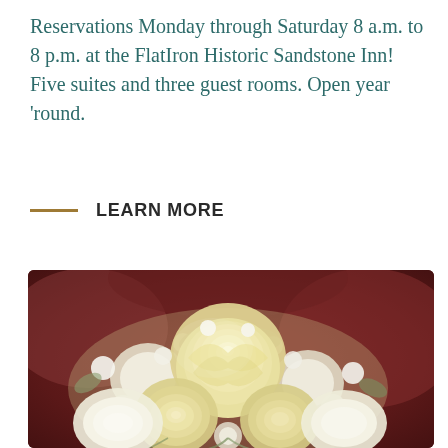Reservations Monday through Saturday 8 a.m. to 8 p.m. at the FlatIron Historic Sandstone Inn! Five suites and three guest rooms. Open year 'round.
LEARN MORE
[Figure (photo): A close-up photograph of a bridal bouquet featuring white and pale yellow roses, white peonies, small white flowers, and green foliage, held against a dark reddish-brown background.]